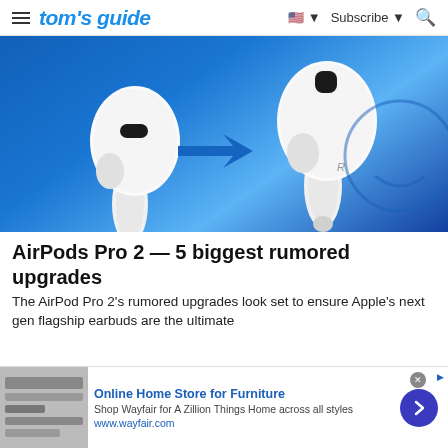tom's guide — Subscribe
[Figure (photo): Two white AirPods Pro earbuds on a blue background with a blue arrow pointing from the left earbud to the right earbud, suggesting an upgrade comparison.]
AirPods Pro 2 — 5 biggest rumored upgrades
The AirPod Pro 2's rumored upgrades look set to ensure Apple's next gen flagship earbuds are the ultimate
[Figure (screenshot): Advertisement banner for Wayfair: Online Home Store for Furniture. Shop Wayfair for A Zillion Things Home across all styles. www.wayfair.com]